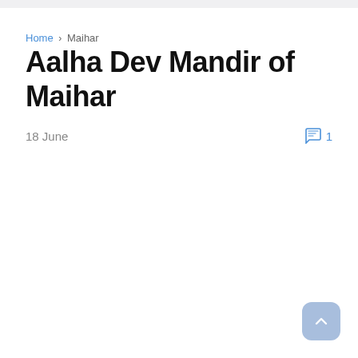Home › Maihar
Aalha Dev Mandir of Maihar
18 June  1